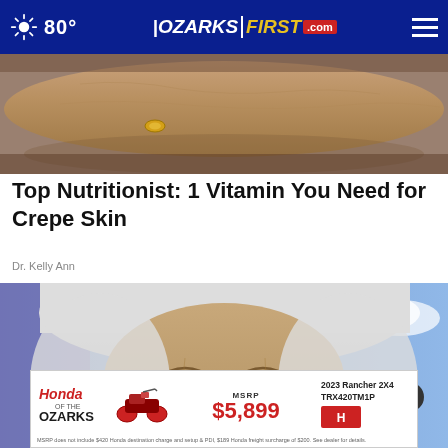80° | OZARKSFIRST.com
[Figure (photo): Close-up photo of an elderly person's arm/hand wearing a gold ring, skin texture visible]
Top Nutritionist: 1 Vitamin You Need for Crepe Skin
Dr. Kelly Ann
[Figure (photo): Person lying down with eyes closed, wearing a white hood or towel, receiving a facial treatment]
[Figure (infographic): Honda of the Ozarks advertisement: 2023 Rancher 2X4 TRX420TM1P, MSRP $5,899]